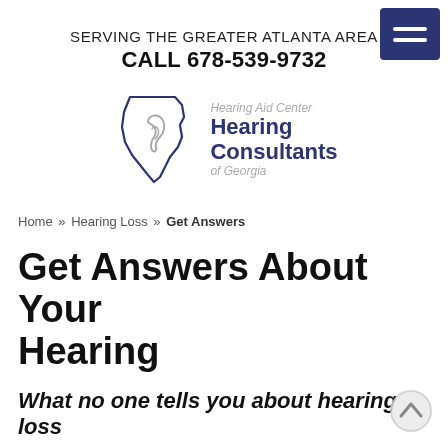[Figure (other): Hamburger menu button (dark navy blue rectangle with three white horizontal lines)]
SERVING THE GREATER ATLANTA AREA
CALL 678-539-9732
[Figure (logo): Hearing Consultants of Georgia logo with Georgia state outline containing an ear symbol, and text: Hearing Aid Center / Hearing Consultants / of Georgia]
Home » Hearing Loss » Get Answers
Get Answers About Your Hearing
What no one tells you about hearing loss